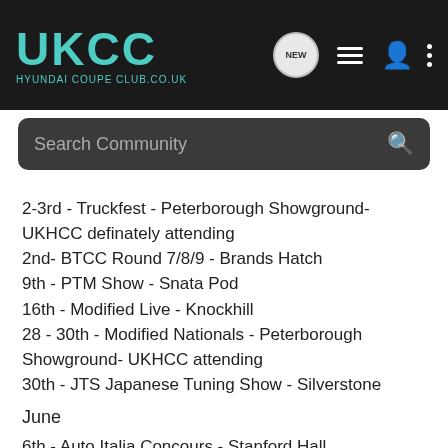UKCC HYUNDAI COUPE CLUB.CO.UK
Search Community
2-3rd - Truckfest - Peterborough Showground-UKHCC definately attending
2nd- BTCC Round 7/8/9 - Brands Hatch
9th - PTM Show - Snata Pod
16th - Modified Live - Knockhill
28 - 30th - Modified Nationals - Peterborough Showground- UKHCC attending
30th - JTS Japanese Tuning Show - Silverstone
June
6th - Auto Italia Concours - Stanford Hall
6th - BTCC Round 10/11/12 - Oulton Park
20th - BTCC Round 13/14/15 - Croft
27th - Modified Live - Brands Hatch- Possible UKHCC